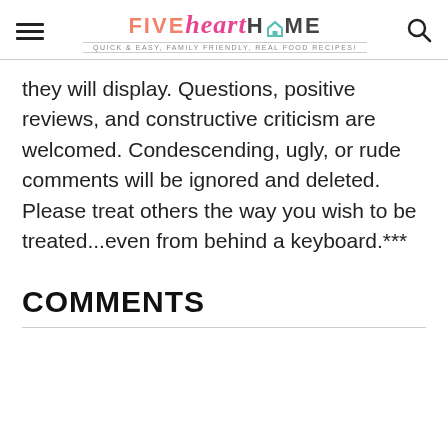FIVE heart HOME — Quick & Easy, Family Friendly, Real Food Recipes!
they will display. Questions, positive reviews, and constructive criticism are welcomed. Condescending, ugly, or rude comments will be ignored and deleted. Please treat others the way you wish to be treated...even from behind a keyboard.***
COMMENTS